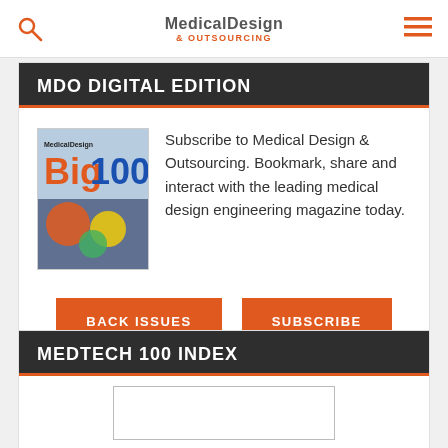Medical Design & Outsourcing
MDO DIGITAL EDITION
[Figure (illustration): Cover of Medical Design Big 100 magazine issue]
Subscribe to Medical Design & Outsourcing. Bookmark, share and interact with the leading medical design engineering magazine today.
BACK ISSUES
SUBSCRIBE
MEDTECH 100 INDEX